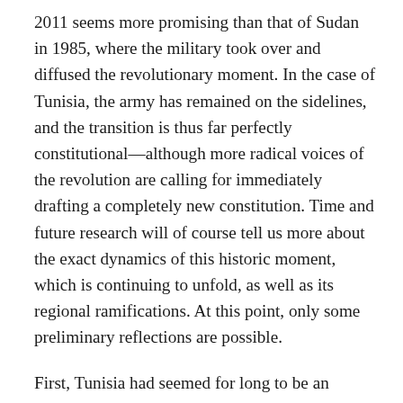2011 seems more promising than that of Sudan in 1985, where the military took over and diffused the revolutionary moment. In the case of Tunisia, the army has remained on the sidelines, and the transition is thus far perfectly constitutional—although more radical voices of the revolution are calling for immediately drafting a completely new constitution. Time and future research will of course tell us more about the exact dynamics of this historic moment, which is continuing to unfold, as well as its regional ramifications. At this point, only some preliminary reflections are possible.
First, Tunisia had seemed for long to be an unlikely candidate for revolution due to its apparent stability, comparatively healthy economy, relatively good educational system, and strength of state apparatus.